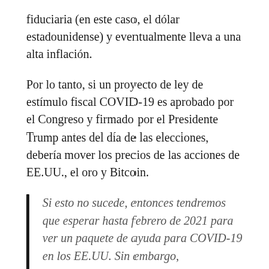fiduciaria (en este caso, el dólar estadounidense) y eventualmente lleva a una alta inflación.
Por lo tanto, si un proyecto de ley de estímulo fiscal COVID-19 es aprobado por el Congreso y firmado por el Presidente Trump antes del día de las elecciones, debería mover los precios de las acciones de EE.UU., el oro y Bitcoin.
Si esto no sucede, entonces tendremos que esperar hasta febrero de 2021 para ver un paquete de ayuda para COVID-19 en los EE.UU. Sin embargo, independientemente de quién gane las elecciones presidenciales de EE.UU., los